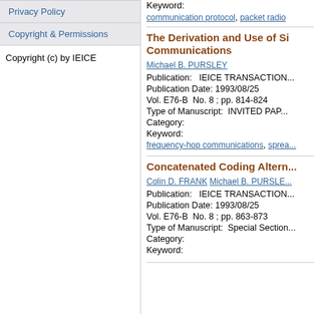Privacy Policy
Copyright & Permissions
Copyright (c) by IEICE
Keyword:
communication protocol, packet radio
The Derivation and Use of Si... Communications
Michael B. PURSLEY
Publication:   IEICE TRANSACTION...
Publication Date: 1993/08/25
Vol. E76-B  No. 8 ; pp. 814-824
Type of Manuscript:  INVITED PAP...
Category:
Keyword:
frequency-hop communications, sprea...
Concatenated Coding Altern...
Colin D. FRANK  Michael B. PURSLE...
Publication:   IEICE TRANSACTION...
Publication Date: 1993/08/25
Vol. E76-B  No. 8 ; pp. 863-873
Type of Manuscript:  Special Section...
Category:
Keyword: